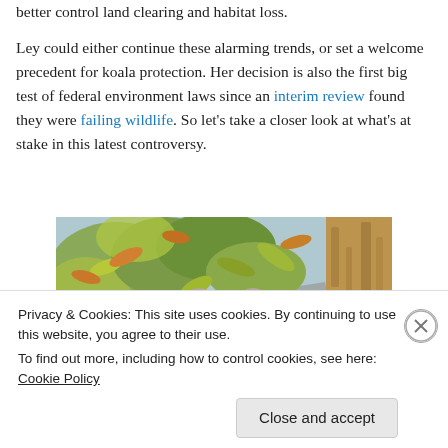better control land clearing and habitat loss.
Ley could either continue these alarming trends, or set a welcome precedent for koala protection. Her decision is also the first big test of federal environment laws since an interim review found they were failing wildlife. So let's take a closer look at what's at stake in this latest controversy.
[Figure (photo): Photograph of a koala sitting in a eucalyptus tree among green and yellow-brown leaves, with a rough tree trunk visible on the right side.]
Privacy & Cookies: This site uses cookies. By continuing to use this website, you agree to their use.
To find out more, including how to control cookies, see here: Cookie Policy